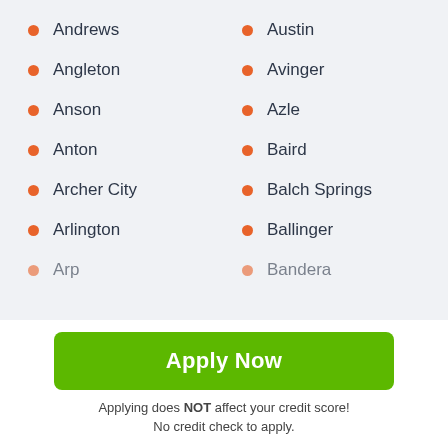Andrews
Austin
Angleton
Avinger
Anson
Azle
Anton
Baird
Archer City
Balch Springs
Arlington
Ballinger
Arp
Bandera
Apply Now
Applying does NOT affect your credit score! No credit check to apply.